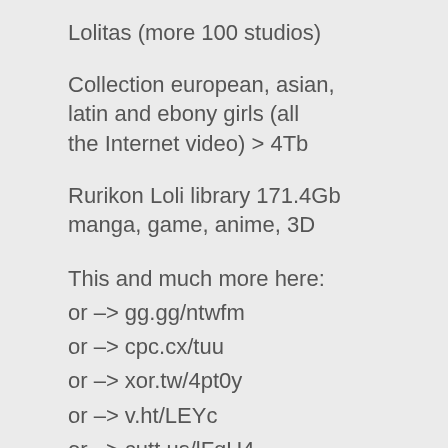Lolitas (more 100 studios)
Collection european, asian, latin and ebony girls (all the Internet video) > 4Tb
Rurikon Loli library 171.4Gb manga, game, anime, 3D
This and much more here:
or -> gg.gg/ntwfm
or -> cpc.cx/tuu
or -> xor.tw/4pt0y
or -> v.ht/LEYc
or -> cutt.us/lFqU4
or -> gg.gg/ntwgr
or -> v.ht/kly2
or -> apa.de/oa